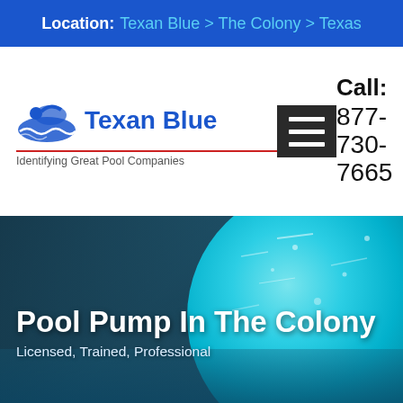Location: Texan Blue > The Colony > Texas
[Figure (logo): Texan Blue logo with swimmer icon and tagline 'Identifying Great Pool Companies']
[Figure (other): Hamburger menu icon (three horizontal lines on dark background)]
Call: 877-730-7665
[Figure (photo): Hero image of swimmers in a pool with bright turquoise water on the right side]
Pool Pump In The Colony
Licensed, Trained, Professional